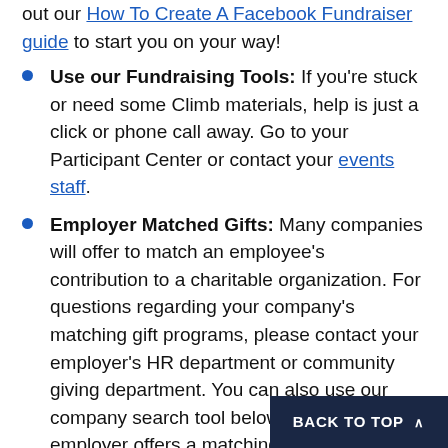out our How To Create A Facebook Fundraiser guide to start you on your way!
Use our Fundraising Tools: If you're stuck or need some Climb materials, help is just a click or phone call away. Go to your Participant Center or contact your events staff.
Employer Matched Gifts: Many companies will offer to match an employee's contribution to a charitable organization. For questions regarding your company's matching gift programs, please contact your employer's HR department or community giving department. You can also use our company search tool below to see if your employer offers a matching gift program, as well as find information on how to get started.
BACK TO TOP